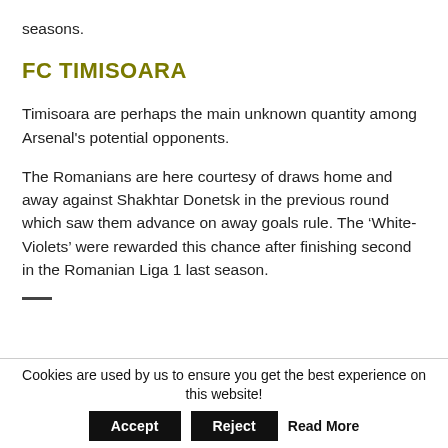seasons.
FC TIMISOARA
Timisoara are perhaps the main unknown quantity among Arsenal's potential opponents.
The Romanians are here courtesy of draws home and away against Shakhtar Donetsk in the previous round which saw them advance on away goals rule. The ‘White-Violets’ were rewarded this chance after finishing second in the Romanian Liga 1 last season.
Cookies are used by us to ensure you get the best experience on this website! Accept Reject Read More